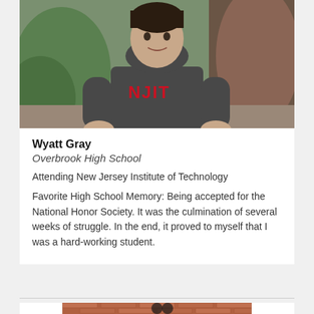[Figure (photo): Young man wearing a dark grey NJIT hoodie, sitting outdoors with greenery and brick in the background.]
Wyatt Gray
Overbrook High School
Attending New Jersey Institute of Technology
Favorite High School Memory: Being accepted for the National Honor Society. It was the culmination of several weeks of struggle. In the end, it proved to myself that I was a hard-working student.
[Figure (photo): Partial photo of another student, visible from bottom of page, brick background.]